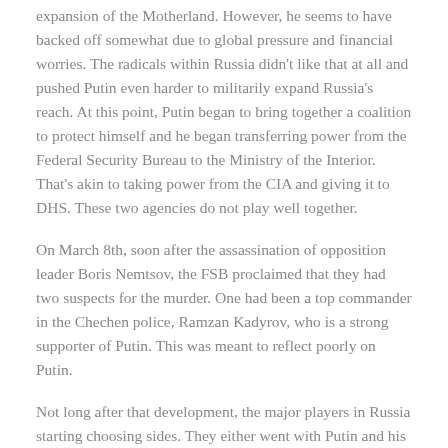expansion of the Motherland. However, he seems to have backed off somewhat due to global pressure and financial worries. The radicals within Russia didn't like that at all and pushed Putin even harder to militarily expand Russia's reach. At this point, Putin began to bring together a coalition to protect himself and he began transferring power from the Federal Security Bureau to the Ministry of the Interior. That's akin to taking power from the CIA and giving it to DHS. These two agencies do not play well together.
On March 8th, soon after the assassination of opposition leader Boris Nemtsov, the FSB proclaimed that they had two suspects for the murder. One had been a top commander in the Chechen police, Ramzan Kadyrov, who is a strong supporter of Putin. This was meant to reflect poorly on Putin.
Not long after that development, the major players in Russia starting choosing sides. They either went with Putin and his version of the DHS, or with the FSB and the fascist radicals. The wild card here is the military… whoever wins them over, wins for realsies.